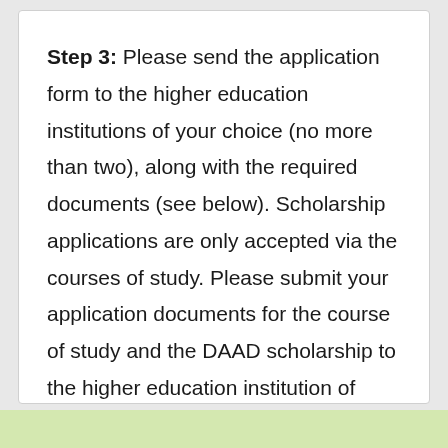Step 3: Please send the application form to the higher education institutions of your choice (no more than two), along with the required documents (see below). Scholarship applications are only accepted via the courses of study. Please submit your application documents for the course of study and the DAAD scholarship to the higher education institution of your choice, and not to the DAAD.